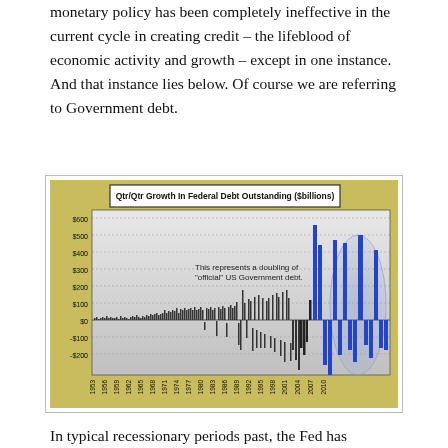monetary policy has been completely ineffective in the current cycle in creating credit – the lifeblood of economic activity and growth – except in one instance. And that instance lies below. Of course we are referring to Government debt.
[Figure (bar-chart): Bar chart showing quarterly growth in federal debt outstanding from 1953 to 2010. Values stay near $0 through the 1950s-1990s, then spike dramatically after 2007, reaching around $575 billion at peak with annotation 'This represents a doubling of "official" US Government debt.']
In typical recessionary periods past, the Fed has